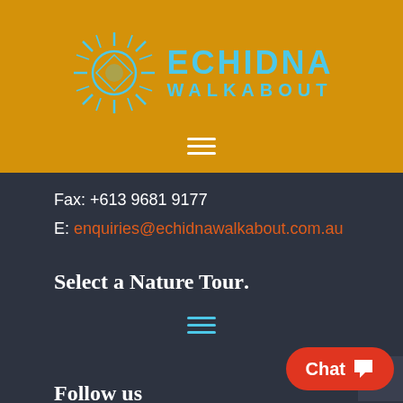[Figure (logo): Echidna Walkabout logo with sun/flower graphic and cyan text on golden-yellow header background]
Fax: +613 9681 9177
E: enquiries@echidnawalkabout.com.au
Select a Nature Tour.
Follow us
[Figure (infographic): Social media follow buttons: Facebook Follow, Twitter Follow, YouTube Follow, Instagram Follow]
[Figure (other): Red chat button with speech bubble icon labeled Chat]